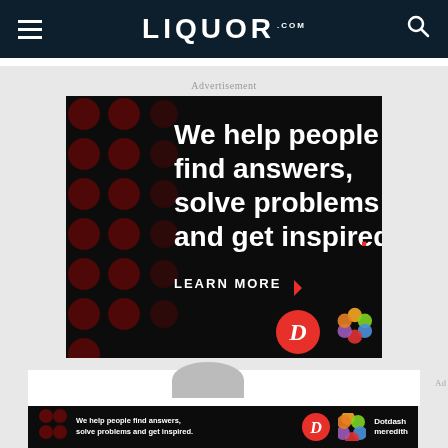LIQUOR.COM
Advertisement
[Figure (screenshot): Dotdash Meredith advertisement on black background with dark red polka dots. Text reads: We help people find answers, solve problems and get inspired. LEARN MORE. D logo circle and colorful flower/knot logo.]
[Figure (screenshot): Bottom banner ad: We help people find answers, solve problems and get inspired. D circle logo. Colorful flower logo. Dotdash meredith branding.]